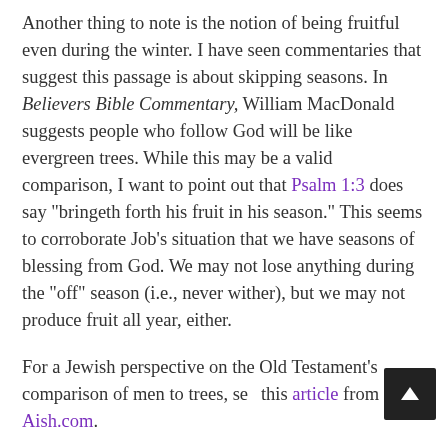Another thing to note is the notion of being fruitful even during the winter. I have seen commentaries that suggest this passage is about skipping seasons. In Believers Bible Commentary, William MacDonald suggests people who follow God will be like evergreen trees. While this may be a valid comparison, I want to point out that Psalm 1:3 does say "bringeth forth his fruit in his season." This seems to corroborate Job's situation that we have seasons of blessing from God. We may not lose anything during the "off" season (i.e., never wither), but we may not produce fruit all year, either.
For a Jewish perspective on the Old Testament's comparison of men to trees, see this article from Aish.com.